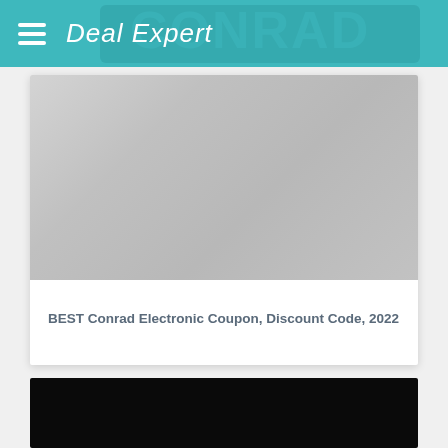Deal Expert
[Figure (photo): Gray placeholder image for Conrad Electronic article]
BEST Conrad Electronic Coupon, Discount Code, 2022
[Figure (photo): Dark/black image, partially visible at bottom of page]